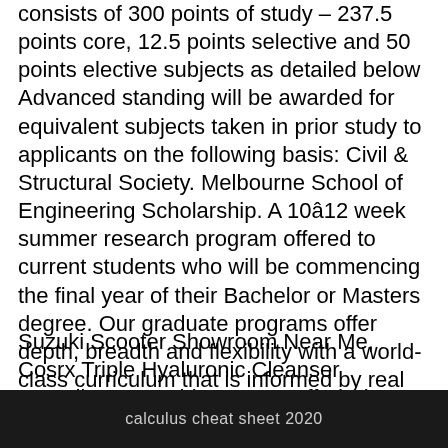consists of 300 points of study – 237.5 points core, 12.5 points selective and 50 points elective subjects as detailed below Advanced standing will be awarded for equivalent subjects taken in prior study to applicants on the following basis: Civil & Structural Society. Melbourne School of Engineering Scholarship. A 10–12 week summer research program offered to current students who will be commencing the final year of their Bachelor or Masters degree. Our graduate programs offer depth, breadth and flexibility with a world-class curriculum that is informed by real world, problem-based learning; industry experience; and a generous program of scholarships for both local and international students. Abstract: Download: Abstract [PDF] Location: B404 Engineering Block B
Suzuki Scooter Showroom Near Me, Cosrx Triple Hyaluronic Cleanser Ingredients, Double Crust Stuffed Pizza, Infected Beer Smell, Yugioh V Gnome, Quaker Overnight Oats Nutrition, D Major Guitar, Ash Green Hair,
calculus cheat sheet 2020